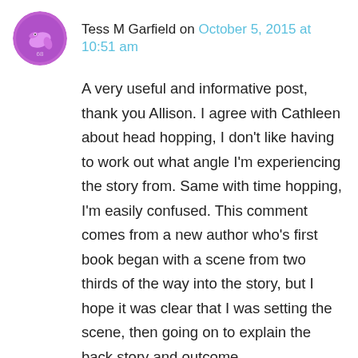[Figure (illustration): Purple circular avatar with a dolphin or fish graphic, used as a user profile image for Tess M Garfield]
Tess M Garfield on October 5, 2015 at 10:51 am
A very useful and informative post, thank you Allison. I agree with Cathleen about head hopping, I don't like having to work out what angle I'm experiencing the story from. Same with time hopping, I'm easily confused. This comment comes from a new author who's first book began with a scene from two thirds of the way into the story, but I hope it was clear that I was setting the scene, then going on to explain the back story and outcome.
I love the ‘aroma of the brewed coffee’ approach, and I am trying more and more to use that, for example in my second book I described the atmosphere in one scene by writing ‘Lisa opened